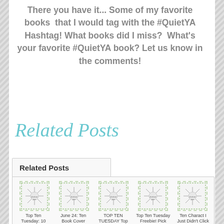There you have it... Some of my favorite books  that I would tag with the #QuietYA Hashtag! What books did I miss?  What's your favorite #QuietYA book? Let us know in the comments!
Related Posts
[Figure (other): Related Posts widget with tab and 5 fiction fare thumbnail images with article titles: Top Ten Tuesday: 10 Books..., June 24: Ten Book Cover..., TOP TEN TUESDAY Top Ten..., Top Ten Tuesday Freebie! Pick..., Ten Characters I Just Didn't Click...]